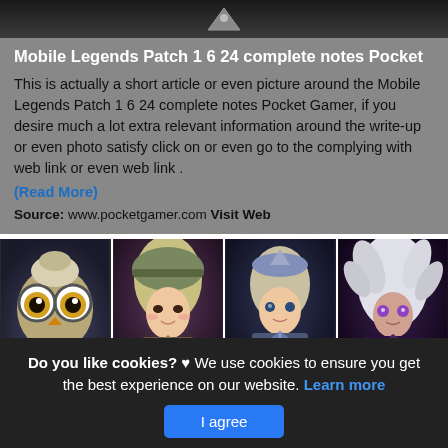[Figure (screenshot): Dark header image with game UI elements]
Mobile Legends Patch 1 6 24 complete notes Pocket
This is actually a short article or even picture around the Mobile Legends Patch 1 6 24 complete notes Pocket Gamer, if you desire much a lot extra relevant information around the write-up or even photo satisfy click on or even go to the complying with web link or even web link .
(Read More)
Source: www.pocketgamer.com Visit Web
[Figure (screenshot): Four Mobile Legends game character portraits side by side: an owl-like character, a blonde hero, a female hero, and a white-haired hero]
Do you like cookies? ♥ We use cookies to ensure you get the best experience on our website. Learn more
I agree